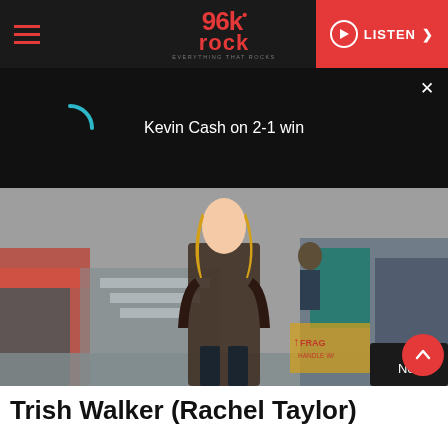96k rock — EVERYTHING THAT ROCKS | LISTEN
[Figure (screenshot): Video player strip showing loading spinner and title 'Kevin Cash on 2-1 win' with close button]
[Figure (photo): Woman (Rachel Taylor as Trish Walker) walking outdoors near trailers and equipment, wearing a dark brown leather jacket. Netflix watermark in lower right.]
Trish Walker (Rachel Taylor)